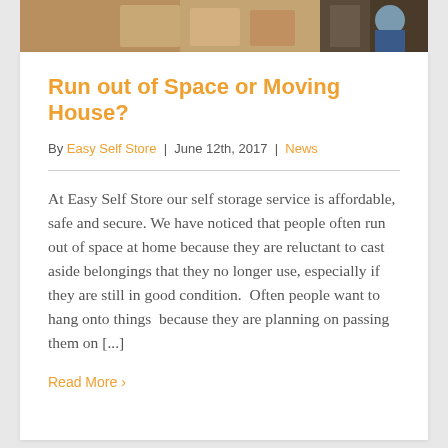[Figure (photo): Photo strip at top showing people moving boxes, cardboard boxes visible in background]
Run out of Space or Moving House?
By Easy Self Store | June 12th, 2017 | News
At Easy Self Store our self storage service is affordable, safe and secure. We have noticed that people often run out of space at home because they are reluctant to cast aside belongings that they no longer use, especially if they are still in good condition.  Often people want to hang onto things  because they are planning on passing them on [...]
Read More >